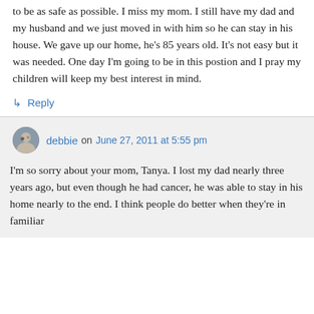to be as safe as possible. I miss my mom. I still have my dad and my husband and we just moved in with him so he can stay in his house. We gave up our home, he's 85 years old. It's not easy but it was needed. One day I'm going to be in this postion and I pray my children will keep my best interest in mind.
↪ Reply
debbie on June 27, 2011 at 5:55 pm
I'm so sorry about your mom, Tanya. I lost my dad nearly three years ago, but even though he had cancer, he was able to stay in his home nearly to the end. I think people do better when they're in familiar